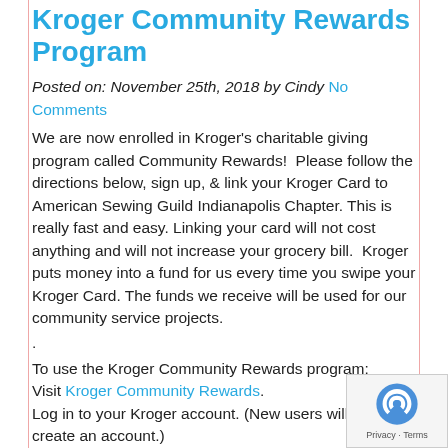Kroger Community Rewards Program
Posted on: November 25th, 2018 by Cindy No Comments
We are now enrolled in Kroger's charitable giving program called Community Rewards!  Please follow the directions below, sign up, & link your Kroger Card to American Sewing Guild Indianapolis Chapter. This is really fast and easy. Linking your card will not cost anything and will not increase your grocery bill.  Kroger puts money into a fund for us every time you swipe your Kroger Card. The funds we receive will be used for our community service projects.
.
To use the Kroger Community Rewards program:
Visit Kroger Community Rewards.
Log in to your Kroger account. (New users will need to create an account.)
Search for AMERICAN SEWING GUILD INDIANAPOLIS CHAPTER (or search for AH634).